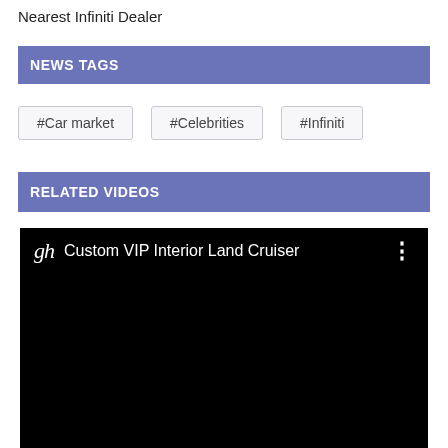Nearest Infiniti Dealer
NEWS TAGS
#Car market
#Celebrities
#Infiniti
RELATED VIDEOS
[Figure (screenshot): Video thumbnail showing 'Custom VIP Interior Land Cruiser' with black background and channel logo]